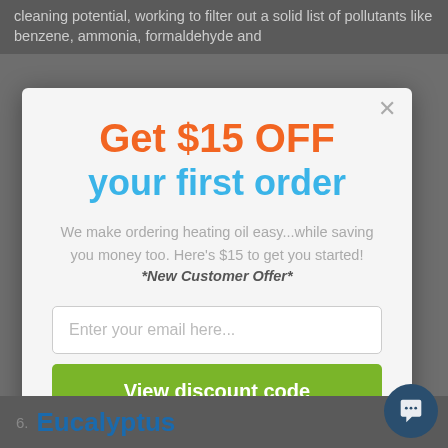cleaning potential, working to filter out a solid list of pollutants like benzene, ammonia, formaldehyde and
Get $15 OFF your first order
We make ordering heating oil easy...while saving you money too. Here's $15 to get you started! *New Customer Offer*
Enter your email here...
View discount code
6. Eucalyptus